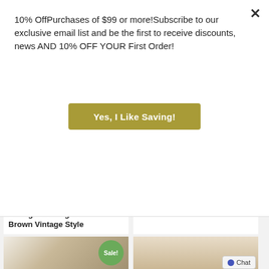10% OffPurchases of $99 or more!Subscribe to our exclusive email list and be the first to receive discounts, news AND 10% OFF YOUR First Order!
Yes, I Like Saving!
[Figure (photo): Bottom half of a dark wrought iron Gothic chandelier with ornate metalwork]
Big Gothic Chandelier Wrought Iron Aged Black and Brown Vintage Style
$1,195.00
ADD TO CART
Galvanized Tin Roof Island Light Chandelier
$1,695.00 $1,250.00
ADD TO CART
[Figure (photo): White and tan textured lamp shade with Sale! badge]
[Figure (photo): Beige/tan table lamp base]